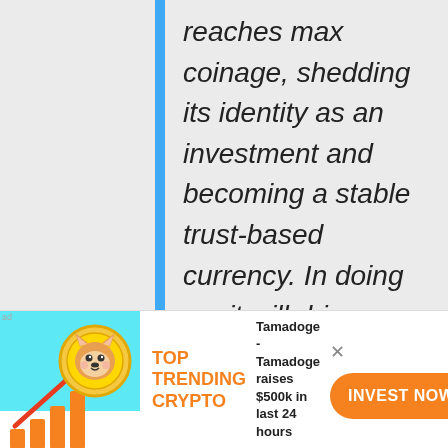reaches max coinage, shedding its identity as an investment and becoming a stable trust-based currency. In doing so, it will drive away all the exuberant speculators who are currently propping up
[Figure (illustration): Advertisement banner showing a Shiba Inu dog coin with upward trending bar chart and arrow, colored in orange/gold and teal background]
TOP TRENDING CRYPTO
Tamadoge - Tamadoge raises $500k in last 24 hours
INVEST NOW